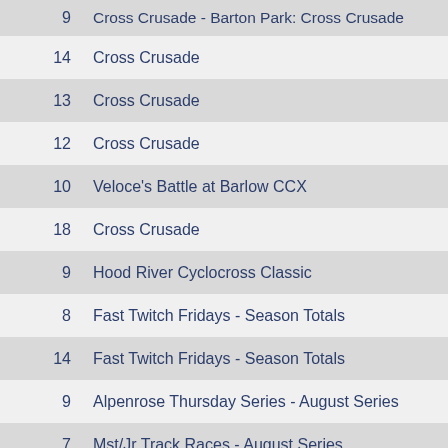| # | Event |
| --- | --- |
| 9 | Cross Crusade - Barton Park: Cross Crusade |
| 14 | Cross Crusade |
| 13 | Cross Crusade |
| 12 | Cross Crusade |
| 10 | Veloce's Battle at Barlow CCX |
| 18 | Cross Crusade |
| 9 | Hood River Cyclocross Classic |
| 8 | Fast Twitch Fridays - Season Totals |
| 14 | Fast Twitch Fridays - Season Totals |
| 9 | Alpenrose Thursday Series - August Series |
| 7 | Mst/Jr Track Races - August Series |
| 26 | PIR - August Series |